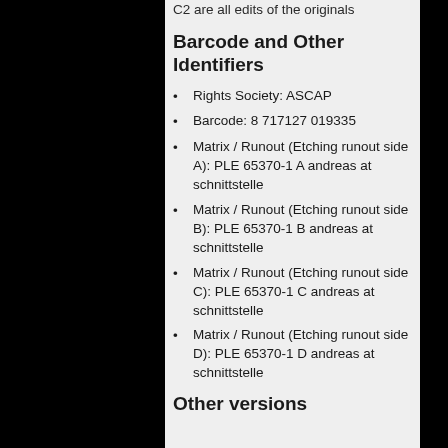C2 are all edits of the originals
Barcode and Other Identifiers
Rights Society: ASCAP
Barcode: 8 717127 019335
Matrix / Runout (Etching runout side A): PLE 65370-1 A andreas at schnittstelle
Matrix / Runout (Etching runout side B): PLE 65370-1 B andreas at schnittstelle
Matrix / Runout (Etching runout side C): PLE 65370-1 C andreas at schnittstelle
Matrix / Runout (Etching runout side D): PLE 65370-1 D andreas at schnittstelle
Other versions